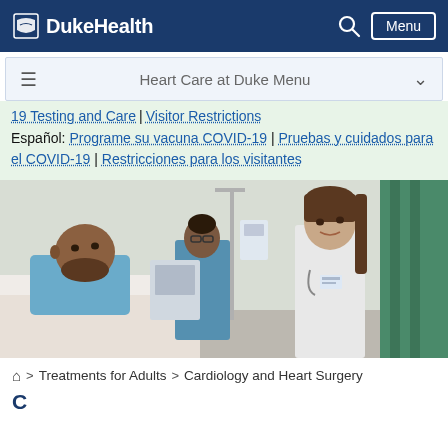DukeHealth — Menu
Heart Care at Duke Menu
19 Testing and Care | Visitor Restrictions
Español: Programe su vacuna COVID-19 | Pruebas y cuidados para el COVID-19 | Restricciones para los visitantes
[Figure (photo): Hospital room scene: a male patient in a hospital bed looks up toward a female doctor in a white coat, with another medical professional in the background.]
🏠 > Treatments for Adults > Cardiology and Heart Surgery